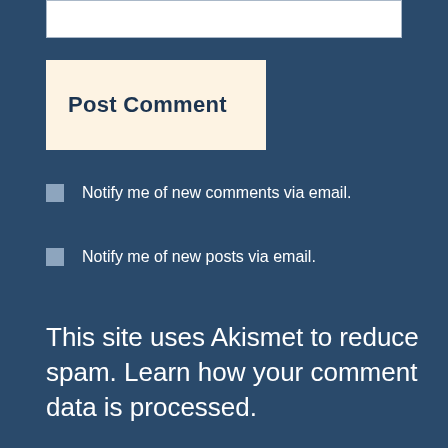[Figure (other): Partially visible white text input box at the top of the page]
Post Comment
Notify me of new comments via email.
Notify me of new posts via email.
This site uses Akismet to reduce spam. Learn how your comment data is processed.